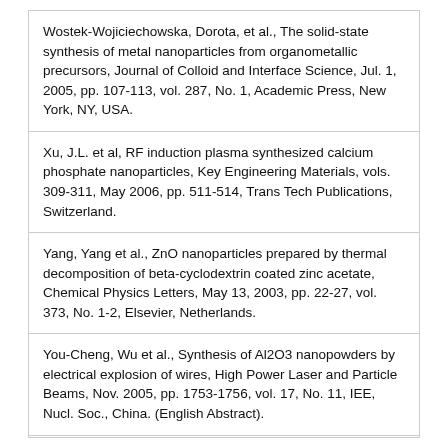Wostek-Wojiciechowska, Dorota, et al., The solid-state synthesis of metal nanoparticles from organometallic precursors, Journal of Colloid and Interface Science, Jul. 1, 2005, pp. 107-113, vol. 287, No. 1, Academic Press, New York, NY, USA.
Xu, J.L. et al, RF induction plasma synthesized calcium phosphate nanoparticles, Key Engineering Materials, vols. 309-311, May 2006, pp. 511-514, Trans Tech Publications, Switzerland.
Yang, Yang et al., ZnO nanoparticles prepared by thermal decomposition of beta-cyclodextrin coated zinc acetate, Chemical Physics Letters, May 13, 2003, pp. 22-27, vol. 373, No. 1-2, Elsevier, Netherlands.
You-Cheng, Wu et al., Synthesis of Al2O3 nanopowders by electrical explosion of wires, High Power Laser and Particle Beams, Nov. 2005, pp. 1753-1756, vol. 17, No. 11, IEE, Nucl. Soc., China. (English Abstract).
Yuan, Fangli et al., Preparation of zinc oxide nanoparticles coated with homogeneous A12O3 layer, Materials of Science and Engineering, Oct. 28, 2004, pp. 55-60.
Zhang, Feng et al., Cerium oxide nanoparticles: Size-selective formation and structure analysis, American Institute of Physics, Jan. 7, 2002, pp. 127-129.vol. 80, No. 1.